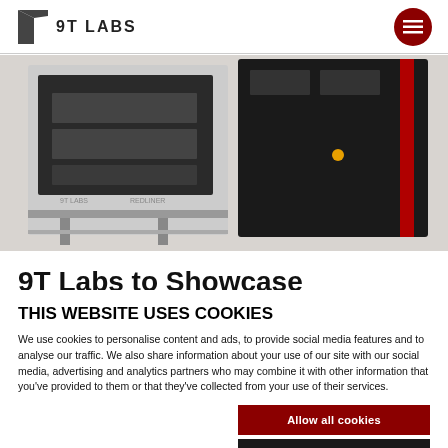9T LABS
[Figure (photo): Industrial 3D printing machine/equipment in black and red against a light grey background]
9T Labs to Showcase
THIS WEBSITE USES COOKIES
We use cookies to personalise content and ads, to provide social media features and to analyse our traffic. We also share information about your use of our site with our social media, advertising and analytics partners who may combine it with other information that you've provided to them or that they've collected from your use of their services.
Allow all cookies
Allow selection
Use necessary cookies only